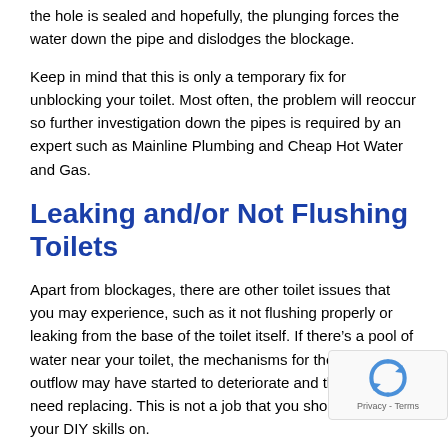the hole is sealed and hopefully, the plunging forces the water down the pipe and dislodges the blockage.
Keep in mind that this is only a temporary fix for unblocking your toilet. Most often, the problem will reoccur so further investigation down the pipes is required by an expert such as Mainline Plumbing and Cheap Hot Water and Gas.
Leaking and/or Not Flushing Toilets
Apart from blockages, there are other toilet issues that you may experience, such as it not flushing properly or leaking from the base of the toilet itself. If there's a pool of water near your toilet, the mechanisms for the inflow and outflow may have started to deteriorate and they often need replacing. This is not a job that you should try out your DIY skills on.
If your toilet is not flushing, it could be that the cistern hasn't filled before flushing, the buttons are out of kilter or possibly the cistern itself is faulty. You can check this yourself by opening the cistern to see if the mechanism is working correctly. If it appears to be slow to fill, check that there isn't anything obstructing the valve that triggers